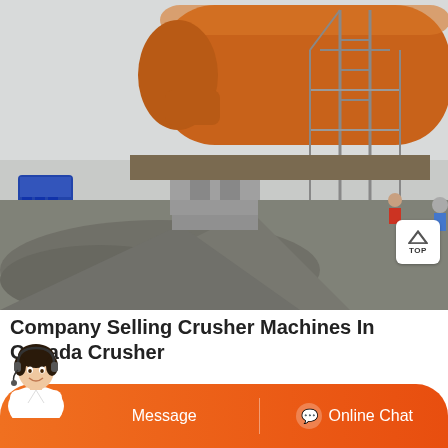[Figure (photo): Industrial ball mill / grinding machine with orange cylindrical drum mounted on scaffolding at a construction/mining site. Workers visible near the base. Grey crushed material/mud in foreground.]
Company Selling Crusher Machines In Canada Crusher
[Figure (other): Orange bottom action bar with customer service avatar on the left, 'Message' button in the center-left, and 'Online Chat' button on the right with a chat icon.]
| B16 jaw crusher 16X26 with a diesel power pack one unit n 2861